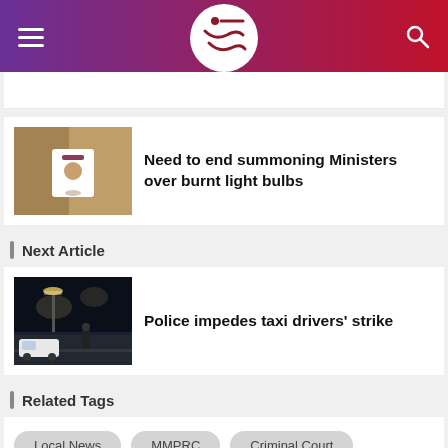News app header with hamburger menu, logo, and search icon
Need to end summoning Ministers over burnt light bulbs
Next Article
Police impedes taxi drivers' strike
Related Tags
Local News
MMPRC
Criminal Court